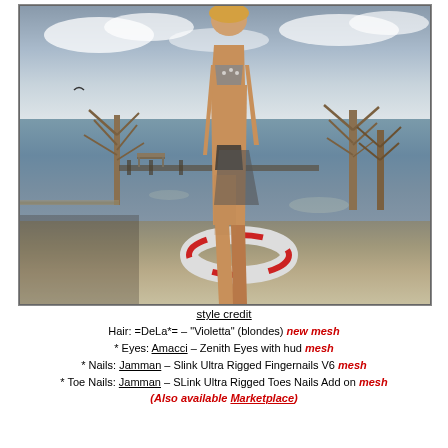[Figure (photo): 3D rendered virtual world avatar — a tall female figure in a polka-dot bikini standing on a dock/waterfront scene with bare trees, calm water, life preserver ring, and overcast sky background.]
style credit
Hair: =DeLa*= – "Violetta" (blondes) new mesh
* Eyes: Amacci – Zenith Eyes with hud mesh
* Nails: Jamman – Slink Ultra Rigged Fingernails V6 mesh
* Toe Nails: Jamman – SLink Ultra Rigged Toes Nails Add on mesh
(Also available Marketplace)